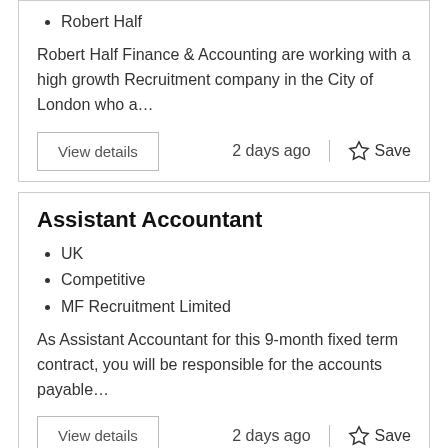Robert Half
Robert Half Finance & Accounting are working with a high growth Recruitment company in the City of London who a…
View details
2 days ago
Save
Assistant Accountant
UK
Competitive
MF Recruitment Limited
As Assistant Accountant for this 9-month fixed term contract, you will be responsible for the accounts payable…
View details
2 days ago
Save